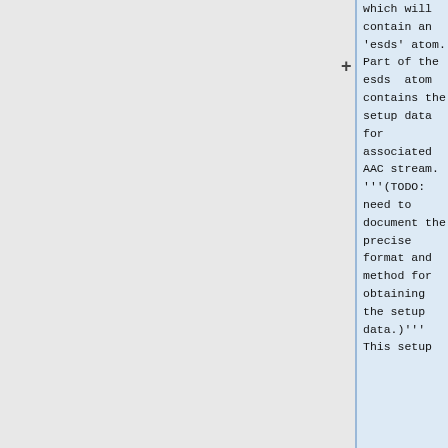which will contain an 'esds' atom. Part of the esds atom contains the setup data for associated AAC stream. '''(TODO: need to document the precise format and method for obtaining the setup data.)''' This setup